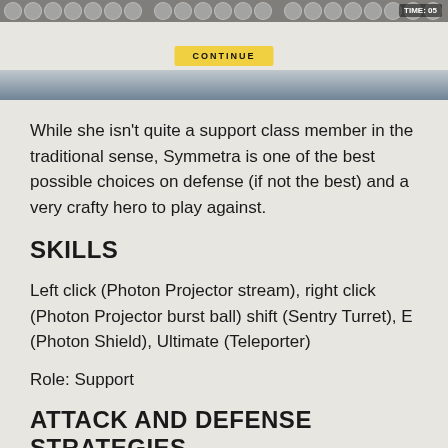[Figure (screenshot): Screenshot of an Overwatch-style game hero selection or end-of-match screen showing character icons at the top and a yellow CONTINUE button in the center.]
While she isn't quite a support class member in the traditional sense, Symmetra is one of the best possible choices on defense (if not the best) and a very crafty hero to play against.
SKILLS
Left click (Photon Projector stream), right click (Photon Projector burst ball) shift (Sentry Turret), E (Photon Shield), Ultimate (Teleporter)
Role: Support
ATTACK AND DEFENSE STRATEGIES